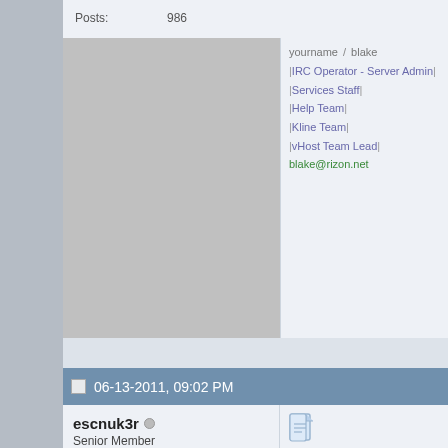Posts: 986
yourname / blake
|IRC Operator - Server Admin|
|Services Staff|
|Help Team|
|Kline Team|
|vHost Team Lead|
blake@rizon.net
06-13-2011, 09:02 PM
escnuk3r
Senior Member
[Figure (photo): Avatar image of escnuk3r, dark reddish abstract photo]
Join Date: Jul 2008
Posts: 926
I am excited to see a good use users. Good game that occurs o is a good way to keep people lo
escnuk3r
irc.rizon.net
Server Admin